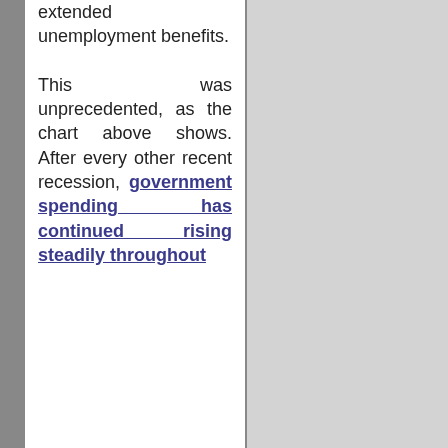extended unemployment benefits.

This was unprecedented, as the chart above shows. After every other recent recession, government spending has continued rising steadily throughout